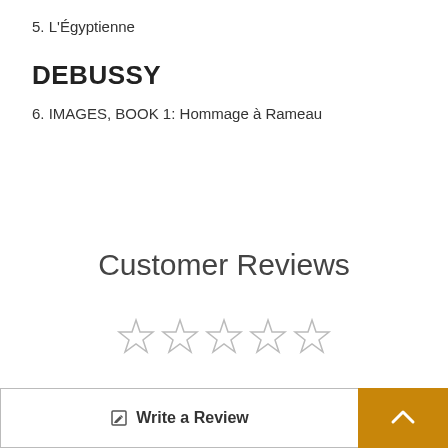5. L'Égyptienne
DEBUSSY
6. IMAGES, BOOK 1: Hommage à Rameau
Customer Reviews
[Figure (other): Five empty star rating icons in a row]
[Figure (other): Write a Review button with edit icon and an orange scroll-to-top arrow button]